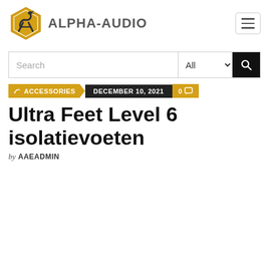[Figure (logo): Alpha-Audio logo: yellow hexagon with snake/letter A icon, followed by bold grey ALPHA-AUDIO text]
[Figure (screenshot): Hamburger menu button (three horizontal lines) inside a rounded border, top right]
[Figure (screenshot): Search bar with text input placeholder 'Search', 'All' dropdown selector, and black search button with magnifier icon]
ACCESSORIES  DECEMBER 10, 2021  0
Ultra Feet Level 6 isolatievoeten
by AAEADMIN